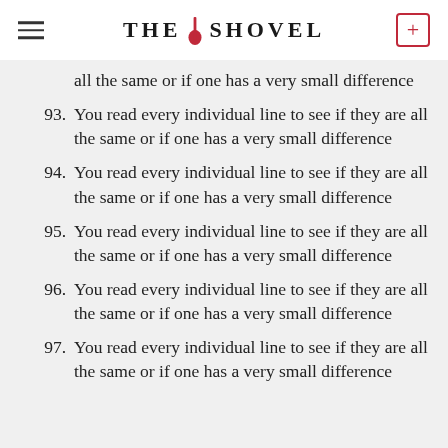THE SHOVEL
all the same or if one has a very small difference
93. You read every individual line to see if they are all the same or if one has a very small difference
94. You read every individual line to see if they are all the same or if one has a very small difference
95. You read every individual line to see if they are all the same or if one has a very small difference
96. You read every individual line to see if they are all the same or if one has a very small difference
97. You read every individual line to see if they are all the same or if one has a very small difference